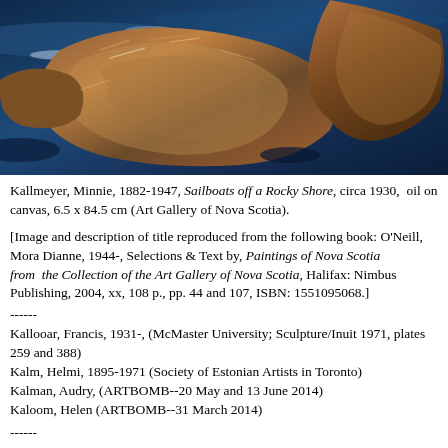[Figure (photo): Close-up oil painting detail showing rocky shore with deep blue water and warm brown and orange tones of rocks, heavily textured brushwork.]
Kallmeyer, Minnie, 1882-1947, Sailboats off a Rocky Shore, circa 1930, oil on canvas, 6.5 x 84.5 cm (Art Gallery of Nova Scotia).
[Image and description of title reproduced from the following book: O'Neill, Mora Dianne, 1944-, Selections & Text by, Paintings of Nova Scotia from the Collection of the Art Gallery of Nova Scotia, Halifax: Nimbus Publishing, 2004, xx, 108 p., pp. 44 and 107, ISBN: 1551095068.]
------
Kallooar, Francis, 1931-, (McMaster University; Sculpture/Inuit 1971, plates 259 and 388)
Kalm, Helmi, 1895-1971 (Society of Estonian Artists in Toronto)
Kalman, Audry, (ARTBOMB--20 May and 13 June 2014)
Kaloom, Helen (ARTBOMB--31 March 2014)
------
Artists appearing in the document...